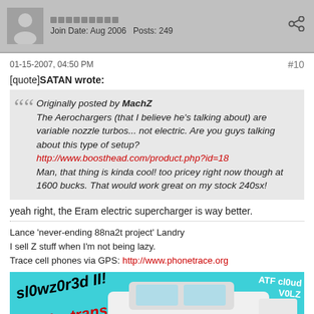Join Date: Aug 2006   Posts: 249
01-15-2007, 04:50 PM   #10
[quote]SATAN wrote:
Originally posted by MachZ
The Aerochargers (that I believe he's talking about) are variable nozzle turbos... not electric. Are you guys talking about this type of setup?
http://www.boosthead.com/product.php?id=18
Man, that thing is kinda cool! too pricey right now though at 1600 bucks. That would work great on my stock 240sx!
yeah right, the Eram electric supercharger is way better.
Lance 'never-ending 88na2t project' Landry
I sell Z stuff when I'm not being lazy.
Trace cell phones via GPS: http://www.phonetrace.org
[Figure (photo): Car image banner with cyan background showing a white 240sx, text 'sl0wz0r3d II! Broke trans' on left, 'ATF cl0ud V0LZ' on right]